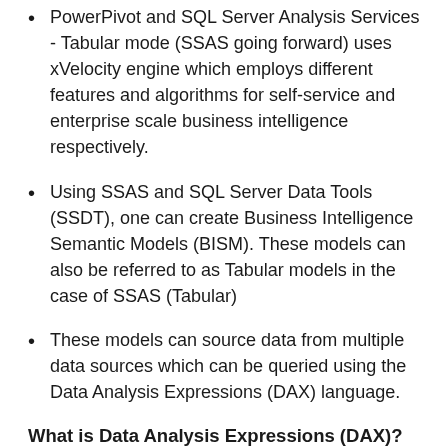PowerPivot and SQL Server Analysis Services - Tabular mode (SSAS going forward) uses xVelocity engine which employs different features and algorithms for self-service and enterprise scale business intelligence respectively.
Using SSAS and SQL Server Data Tools (SSDT), one can create Business Intelligence Semantic Models (BISM). These models can also be referred to as Tabular models in the case of SSAS (Tabular)
These models can source data from multiple data sources which can be queried using the Data Analysis Expressions (DAX) language.
What is Data Analysis Expressions (DAX)?
SSAS loads data from BISM models into memory (RAM) in a proprietary format, also termed as data processing. A